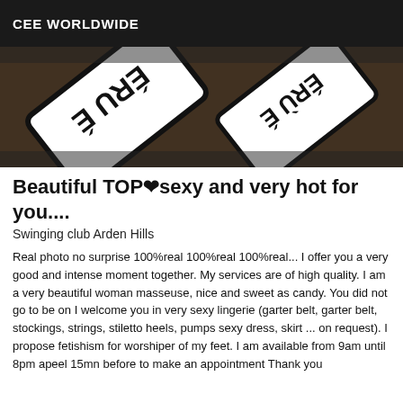CEE WORLDWIDE
[Figure (photo): Photo showing white rectangular sticker cards with bold black text, arranged at angles on a dark background.]
Beautiful TOP❤sexy and very hot for you....
Swinging club Arden Hills
Real photo no surprise 100%real 100%real 100%real... I offer you a very good and intense moment together. My services are of high quality. I am a very beautiful woman masseuse, nice and sweet as candy. You did not go to be on I welcome you in very sexy lingerie (garter belt, garter belt, stockings, strings, stiletto heels, pumps sexy dress, skirt ... on request). I propose fetishism for worshiper of my feet. I am available from 9am until 8pm apeel 15mn before to make an appointment Thank you